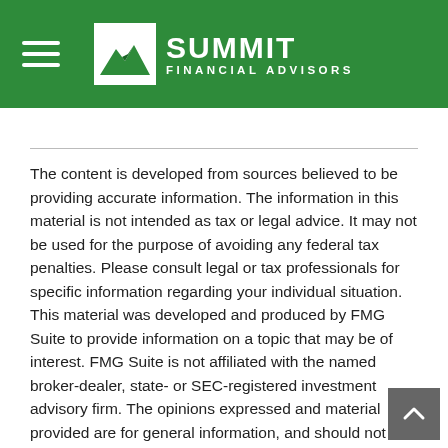Summit Financial Advisors
The content is developed from sources believed to be providing accurate information. The information in this material is not intended as tax or legal advice. It may not be used for the purpose of avoiding any federal tax penalties. Please consult legal or tax professionals for specific information regarding your individual situation. This material was developed and produced by FMG Suite to provide information on a topic that may be of interest. FMG Suite is not affiliated with the named broker-dealer, state- or SEC-registered investment advisory firm. The opinions expressed and material provided are for general information, and should not be considered a solicitation for the purchase or sale of any security. Copyright 2022 FMG Suite.